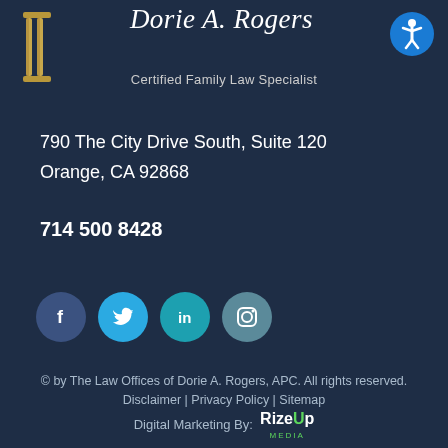[Figure (logo): Gold/brown stylized pillar or column logo icon on the left, cursive script 'Dorie A. Rogers' firm name in white italic text centered, blue circular accessibility icon on the right]
Certified Family Law Specialist
790 The City Drive South, Suite 120
Orange, CA 92868
714 500 8428
[Figure (infographic): Four social media icons in circles: Facebook (dark blue), Twitter (light blue), LinkedIn (teal), Instagram (muted teal)]
© by The Law Offices of Dorie A. Rogers, APC. All rights reserved. Disclaimer | Privacy Policy | Sitemap
Digital Marketing By: RizeUp MEDIA